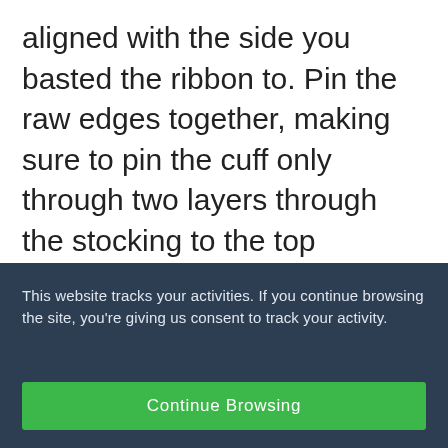aligned with the side you basted the ribbon to. Pin the raw edges together, making sure to pin the cuff only through two layers through the stocking to the top remains open, as shown.
This website tracks your activities. If you continue browsing the site, you're giving us consent to track your activity.
Continue Browsing